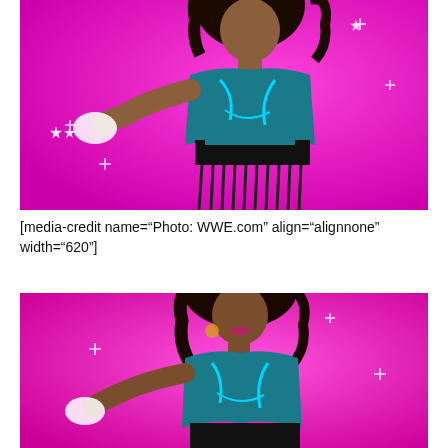[Figure (photo): WWE promotional photo of a female wrestler in teal and black costume on a bright magenta/pink background with sparkle effects, pointing at camera, cropped to show upper body and fringe skirt. Top portion of image.]
[media-credit name="Photo: WWE.com" align="alignnone" width="620"]
[Figure (photo): WWE promotional photo of a female wrestler in teal and black costume on a bright magenta/pink background with sparkle effects, pointing at camera. Full body visible from waist up. Bottom portion / second image.]